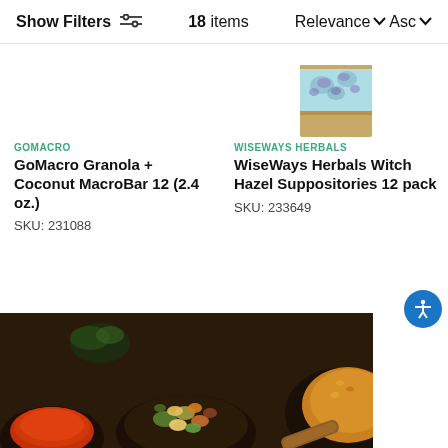Show Filters  18 items  Relevance ∨ Asc ∨
[Figure (photo): Partial product image of WiseWays Herbals box with blue floral pattern on teal background]
GOMACRO
GoMacro Granola + Coconut MacroBar 12 (2.4 oz.)
SKU: 231088
WISEWAYS HERBALS
WiseWays Herbals Witch Hazel Suppositories 12 pack
SKU: 233649
[Figure (photo): Dark background with multiple black bowls containing various colorful spices and food items including red chili powder, mixed nuts and dried fruits, and yellow lentils or grains]